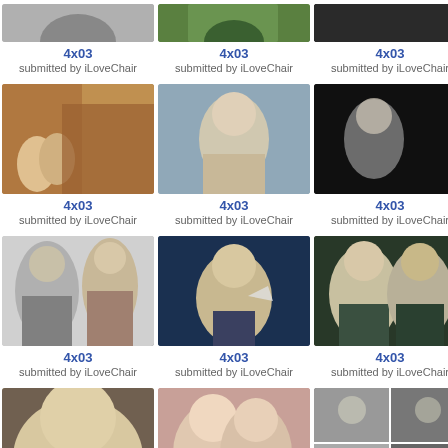[Figure (photo): Thumbnail image partially visible at top - row 1 col 1]
4x03
submitted by iLoveChair
[Figure (photo): Thumbnail image partially visible at top - row 1 col 2]
4x03
submitted by iLoveChair
[Figure (photo): Thumbnail image partially visible at top - row 1 col 3]
4x03
submitted by iLoveChair
[Figure (photo): Row 2 col 1 - two people colorful background]
4x03
submitted by iLoveChair
[Figure (photo): Row 2 col 2 - young man close up]
4x03
submitted by iLoveChair
[Figure (photo): Row 2 col 3 - dark scene with person]
4x03
submitted by iLoveChair
[Figure (photo): Row 3 col 1 - two young men]
4x03
submitted by iLoveChair
[Figure (photo): Row 3 col 2 - man with hand raised]
4x03
submitted by iLoveChair
[Figure (photo): Row 3 col 3 - two men close up]
4x03
submitted by iLoveChair
[Figure (photo): Row 4 col 1 - close up face]
4x03
submitted by iLoveChair
[Figure (photo): Row 4 col 2 - two people kissing]
4x03
submitted by iLoveChair
[Figure (photo): Row 4 col 3 - four panel black and white faces]
4x03
submitted by iLoveChair
[Figure (photo): Row 5 col 1 - partial light colored thumbnail]
[Figure (photo): Row 5 col 2 - partial light colored thumbnail]
[Figure (photo): Row 5 col 3 - partial thumbnail with text lost souls]